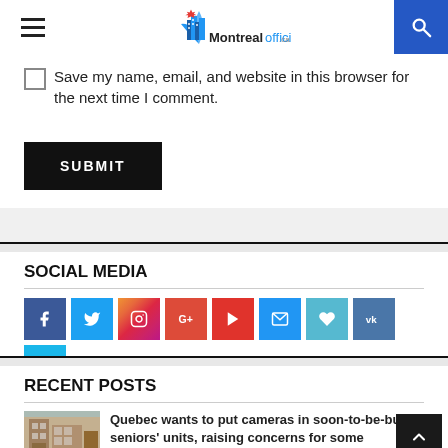MontrealOfficial.ca
Save my name, email, and website in this browser for the next time I comment.
SUBMIT
SOCIAL MEDIA
[Figure (infographic): Row of 9 social media icon buttons: Facebook (blue), Twitter (light blue), Instagram (gradient), Google+ (orange-red), YouTube (red), Email (blue), Heart/Tumblr (cyan), VK (steel blue), Vimeo (light blue)]
RECENT POSTS
[Figure (photo): Thumbnail image for news article about Quebec cameras in seniors units]
Quebec wants to put cameras in soon-to-be-built seniors' units, raising concerns for some